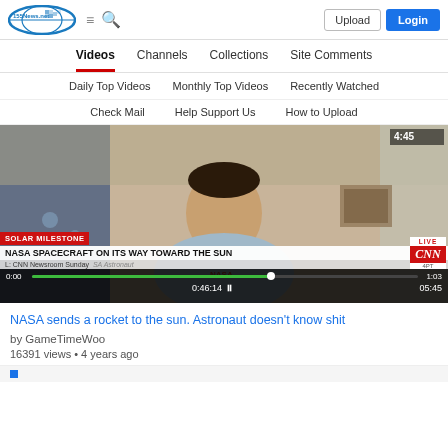155News.net | Upload | Login
Videos | Channels | Collections | Site Comments
Daily Top Videos | Monthly Top Videos | Recently Watched
Check Mail | Help Support Us | How to Upload
[Figure (screenshot): CNN news screenshot showing a NASA astronaut being interviewed via video call. Lower third reads 'SOLAR MILESTONE - NASA SPACECRAFT ON ITS WAY TOWARD THE SUN'. CNN Newsroom Sunday. Video player shows 0:00 start, current time 0:46:14, duration 1:03 and timestamp 05:45. Top right shows 4:45.]
NASA sends a rocket to the sun. Astronaut doesn't know shit
by GameTimeWoo
16391 views • 4 years ago